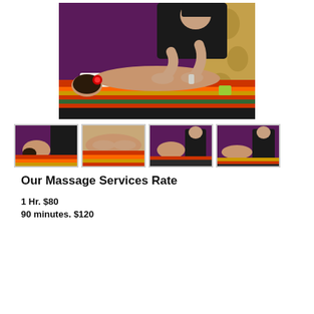[Figure (photo): A massage therapist in black clothing performing a back massage on a client lying face down on a massage table with colorful striped fabric, in a room with purple walls and patterned curtains.]
[Figure (photo): Thumbnail 1: massage therapist with client in purple-walled room]
[Figure (photo): Thumbnail 2: close-up of back massage with colorful striped fabric]
[Figure (photo): Thumbnail 3: massage therapist in black in purple-walled room]
[Figure (photo): Thumbnail 4: massage therapist working on client in purple-walled room]
Our Massage Services Rate
1 Hr. $80
90 minutes. $120